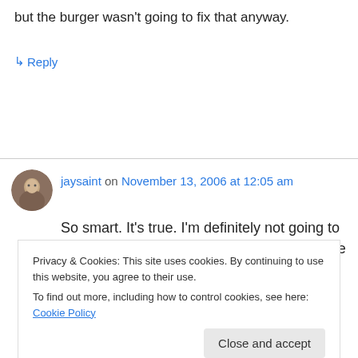but the burger wasn't going to fix that anyway.
↳ Reply
jaysaint on November 13, 2006 at 12:05 am
So smart. It's true. I'm definitely not going to give on this, but I hope she doesn't make me fight
Privacy & Cookies: This site uses cookies. By continuing to use this website, you agree to their use.
To find out more, including how to control cookies, see here: Cookie Policy